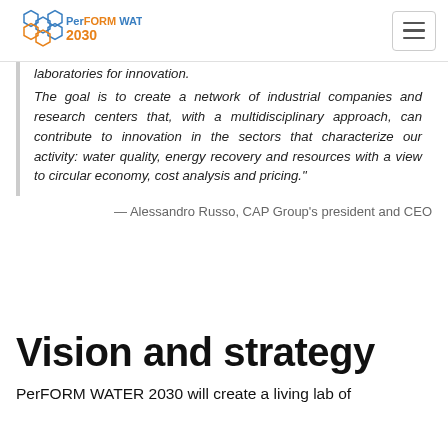PerFORM WATER 2030 logo and navigation
laboratories for innovation.
The goal is to create a network of industrial companies and research centers that, with a multidisciplinary approach, can contribute to innovation in the sectors that characterize our activity: water quality, energy recovery and resources with a view to circular economy, cost analysis and pricing."
— Alessandro Russo, CAP Group's president and CEO
Vision and strategy
PerFORM WATER 2030 will create a living lab of